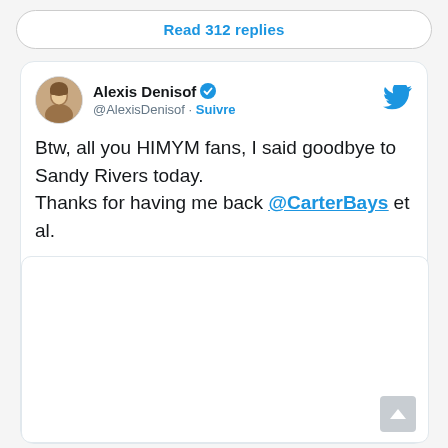Read 312 replies
Alexis Denisof @AlexisDenisof · Suivre
Btw, all you HIMYM fans, I said goodbye to Sandy Rivers today.
Thanks for having me back @CarterBays et al.
[Figure (photo): Embedded image area within tweet card (blank/white rectangle)]